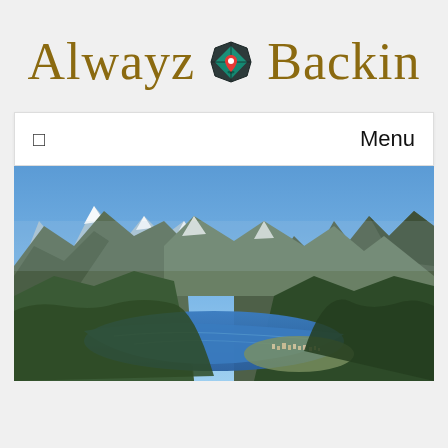Alwayz Backin
[Figure (logo): Alwayz Backin travel blog logo with cursive script text and a map/navigation compass icon in the center]
[Figure (photo): Aerial panoramic view of a mountain lake valley with a small town, blue sky, green forested slopes, and dramatic mountain peaks — likely Waterton Lakes, Canada]